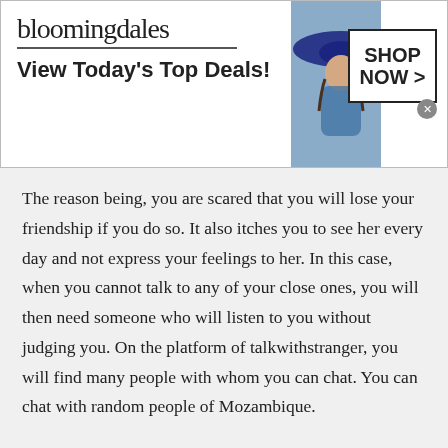[Figure (screenshot): Bloomingdale's advertisement banner with logo, 'View Today's Top Deals!' tagline, model in hat, and 'SHOP NOW >' button]
The reason being, you are scared that you will lose your friendship if you do so. It also itches you to see her every day and not express your feelings to her. In this case, when you cannot talk to any of your close ones, you will then need someone who will listen to you without judging you. On the platform of talkwithstranger, you will find many people with whom you can chat. You can chat with random people of Mozambique.
[Figure (screenshot): Advertisement: '30 Actors Everyone Thinks Are American, But Aren't!' Ad by FillyNews, with photo of male actor]
[Figure (screenshot): Advertisement: '20 Celebrities and Their Real Names You Probably Don't Know!' Ad by BillyNews, with photo of bald man in white shirt]